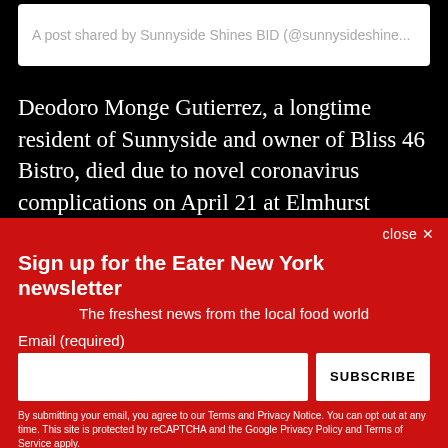A post shared by Sunnyside Shines BID (@sunnysideshine...
Deodoro Monge Gutierrez, a longtime resident of Sunnyside and owner of Bliss 46 Bistro, died due to novel coronavirus complications on April 21 at Elmhurst Hospital.
close ✕
Sign up for the Eater New York newsletter
The freshest news from the local food world
Email (required)
SUBSCRIBE
By submitting your email, you agree to our Terms and Privacy Notice. You can opt out at any time. This site is protected by reCAPTCHA and the Google Privacy Policy and Terms of Service apply.